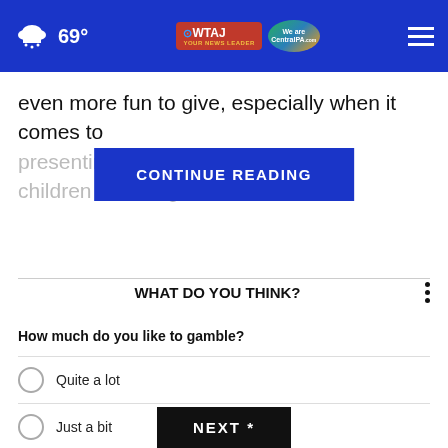69° WWTAJ CentralPA.com
even more fun to give, especially when it comes to presenting kids ... er the season, children love e... lligatoer is no
CONTINUE READING
WHAT DO YOU THINK?
How much do you like to gamble?
Quite a lot
Just a bit
Not at all
No opinion / Other
NEXT *